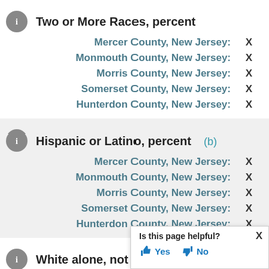Two or More Races, percent
Mercer County, New Jersey: X
Monmouth County, New Jersey: X
Morris County, New Jersey: X
Somerset County, New Jersey: X
Hunterdon County, New Jersey: X
Hispanic or Latino, percent (b)
Mercer County, New Jersey: X
Monmouth County, New Jersey: X
Morris County, New Jersey: X
Somerset County, New Jersey: X
Hunterdon County, New Jersey: X
White alone, not Hispanic or Latino, percent
Mercer County, New Jersey: X
Is this page helpful? Yes No